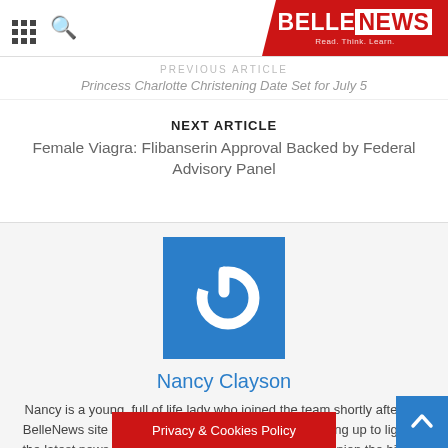BELLENEWS — Read. Think. Learn.
PREVIOUS ARTICLE
Princess Charlotte Christening Date Set for July 5
NEXT ARTICLE
Female Viagra: Flibanserin Approval Backed by Federal Advisory Panel
[Figure (logo): Blue square logo with white power button icon representing BelleNews author placeholder avatar]
Nancy Clayson
Nancy is a young, full of life lady who joined the team shortly after the BelleNews site started to run. She is focused on bringing up to light all the latest news from the technology industry. In her opinion the hi-tech expres... tual level.
Privacy & Cookies Policy